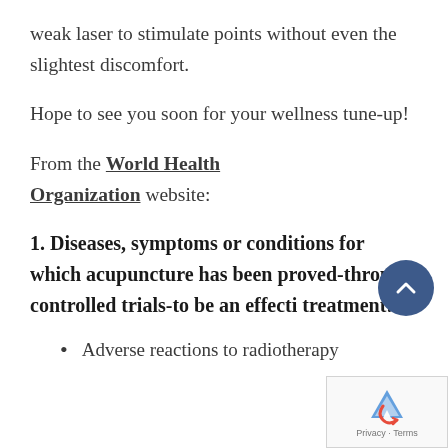weak laser to stimulate points without even the slightest discomfort.
Hope to see you soon for your wellness tune-up!
From the World Health Organization website:
1. Diseases, symptoms or conditions for which acupuncture has been proved-through controlled trials-to be an effective treatment:
Adverse reactions to radiotherapy